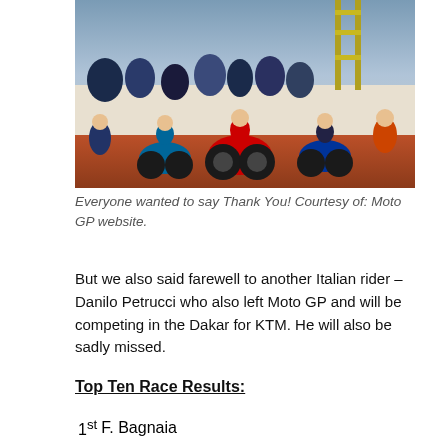[Figure (photo): Group photo of MotoGP riders and bikes gathered together at a circuit, with crowd and scaffolding in the background, colorful liveries visible including red Ducati and blue Yamaha bikes.]
Everyone wanted to say Thank You! Courtesy of: Moto GP website.
But we also said farewell to another Italian rider – Danilo Petrucci who also left Moto GP and will be competing in the Dakar for KTM. He will also be sadly missed.
Top Ten Race Results:
| 1st | F. Bagnaia |